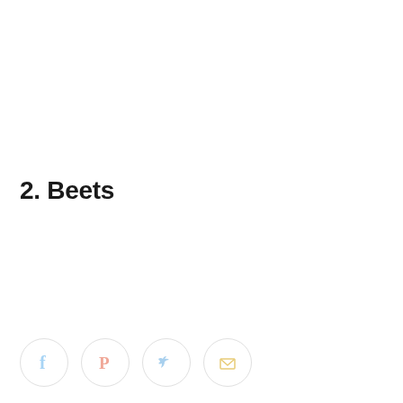2. Beets
[Figure (other): Social sharing icons row: Facebook (light blue f), Pinterest (light pink P), Twitter (light blue bird), Email (light yellow envelope)]